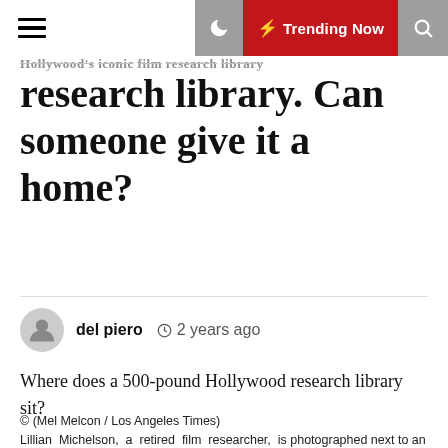☰  🌙  ⚡ Trending Now  🔍
research library. Can someone give it a home?
del piero  🕐 2 years ago
Where does a 500-pound Hollywood research library sit?
© (Mel Melcon / Los Angeles Times)
Lillian Michelson, a retired film researcher, is photographed next to an artist's rendering of her and late husband Harold Michelson, a storyboard artist/production designer, on the wall in front of her